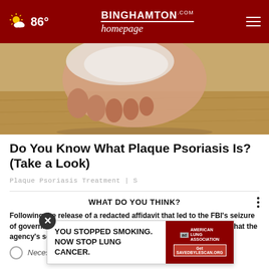86° | Binghamton homepage .com
[Figure (photo): Close-up photo of a foot with psoriasis on a wooden floor background]
Do You Know What Plaque Psoriasis Is? (Take a Look)
Plaque Psoriasis Treatment | S
WHAT DO YOU THINK?
Following the release of a redacted affidavit that led to the FBI's seizure of government documents from Mar-a-Lago, do you now believe that the agency's search of former President Trump
Necessary
[Figure (advertisement): Ad overlay: YOU STOPPED SMOKING. NOW STOP LUNG CANCER. American Lung Association. Get SAVEDBYLESCAN.ORG]